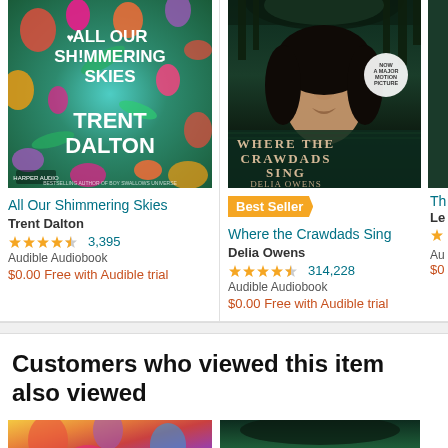[Figure (photo): Book cover of All Our Shimmering Skies by Trent Dalton - colorful floral illustration]
All Our Shimmering Skies
Trent Dalton
3,395
Audible Audiobook
$0.00 Free with Audible trial
[Figure (photo): Book cover of Where the Crawdads Sing by Delia Owens - woman's face partially submerged in water]
Best Seller
Where the Crawdads Sing
Delia Owens
314,228
Audible Audiobook
$0.00 Free with Audible trial
Customers who viewed this item also viewed
[Figure (photo): Partial book cover at bottom left]
[Figure (photo): Partial book cover at bottom right]